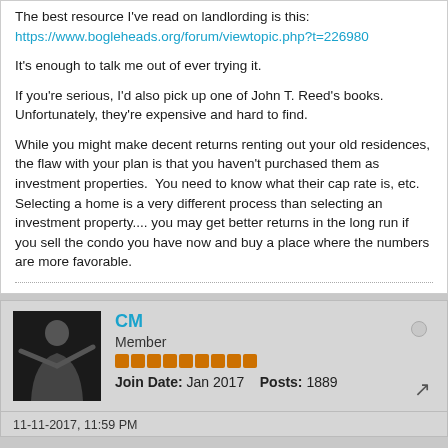The best resource I've read on landlording is this: https://www.bogleheads.org/forum/viewtopic.php?t=226980
It's enough to talk me out of ever trying it.
If you're serious, I'd also pick up one of John T. Reed's books.  Unfortunately, they're expensive and hard to find.
While you might make decent returns renting out your old residences, the flaw with your plan is that you haven't purchased them as investment properties.  You need to know what their cap rate is, etc.  Selecting a home is a very different process than selecting an investment property.... you may get better returns in the long run if you sell the condo you have now and buy a place where the numbers are more favorable.
CM
Member
Join Date: Jan 2017    Posts: 1889
11-11-2017, 11:59 PM